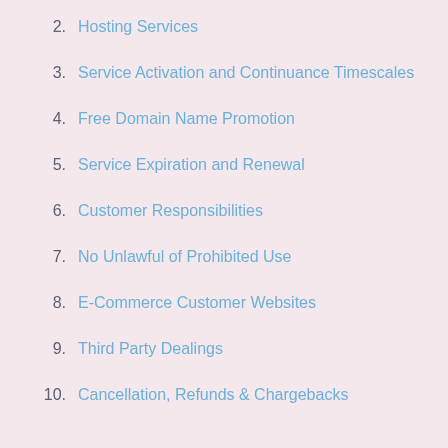2.   Hosting Services
3.   Service Activation and Continuance Timescales
4.   Free Domain Name Promotion
5.   Service Expiration and Renewal
6.   Customer Responsibilities
7.   No Unlawful of Prohibited Use
8.   E-Commerce Customer Websites
9.   Third Party Dealings
10.  Cancellation, Refunds & Chargebacks